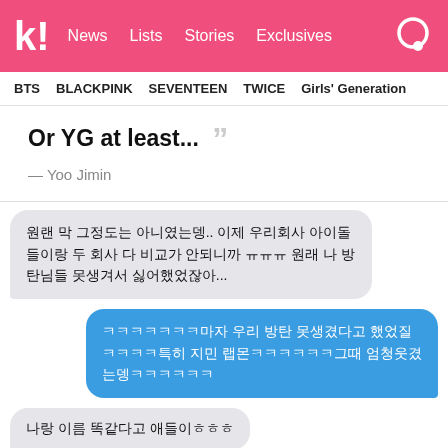k! News Lists Stories Exclusives
BTS  BLACKPINK  SEVENTEEN  TWICE  Girls' Generation
Or YG at least... ””
— Yoo Jimin
원랜 막 그정도는 아니였는뎅.. 이제 우리회사 아이돌들이랑 두 회사 다 비교가 안되니까 ㅠㅠㅠ 원래 나 방탄님들 못생겨서 싫어했었잖아...
ㅋㅋㅋㅋㅋㅋㅋ마자 우리 방탄 못생겼다고 했었질ㅋㅋㅋㅋ특히 지민 랩몬ㅋㅋㅋㅋㅋㅋ그때 엄청웃겼는뎅ㅋㅋㅋㅋㅋㅋ
나랑 이름 똑같다고 애들이ㅎㅎㅎ